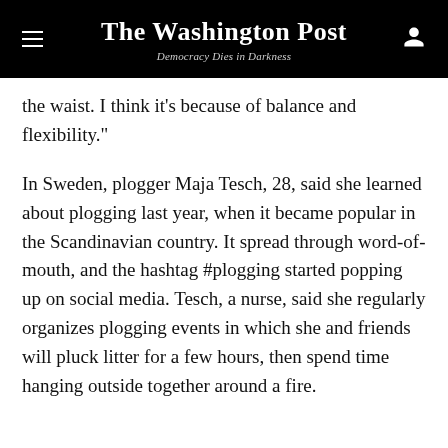The Washington Post — Democracy Dies in Darkness
the waist. I think it’s because of balance and flexibility.”
In Sweden, plogger Maja Tesch, 28, said she learned about plogging last year, when it became popular in the Scandinavian country. It spread through word-of-mouth, and the hashtag #plogging started popping up on social media. Tesch, a nurse, said she regularly organizes plogging events in which she and friends will pluck litter for a few hours, then spend time hanging outside together around a fire.